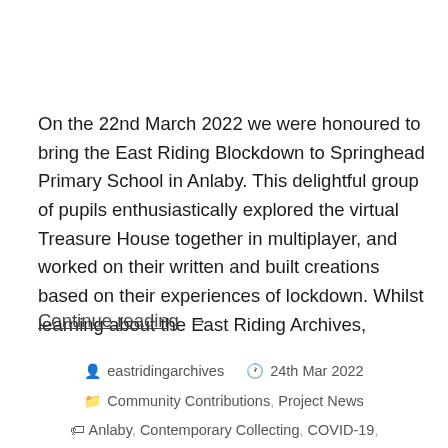On the 22nd March 2022 we were honoured to bring the East Riding Blockdown to Springhead Primary School in Anlaby. This delightful group of pupils enthusiastically explored the virtual Treasure House together in multiplayer, and worked on their written and built creations based on their experiences of lockdown. Whilst learning about the East Riding Archives,
Continue reading →
eastridingarchives   24th Mar 2022
Community Contributions, Project News
Anlaby, Contemporary Collecting, COVID-19, Digital Engagement, Digital For Heritage,